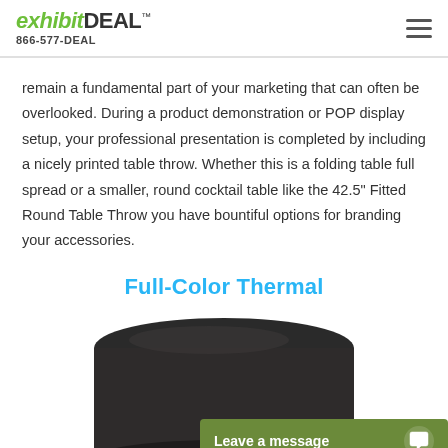exhibitDEAL™ 866-577-DEAL
remain a fundamental part of your marketing that can often be overlooked. During a product demonstration or POP display setup, your professional presentation is completed by including a nicely printed table throw. Whether this is a folding table full spread or a smaller, round cocktail table like the 42.5" Fitted Round Table Throw you have bountiful options for branding your accessories.
Full-Color Thermal
[Figure (photo): Dark brown/charcoal fitted round table throw on a round cocktail table, shown from a slight angle.]